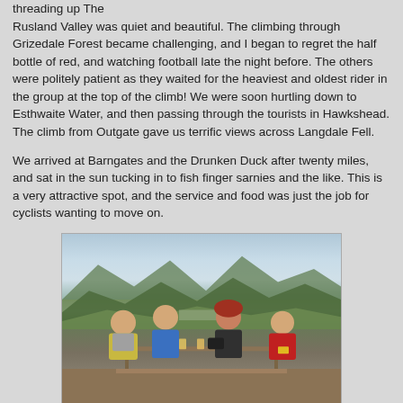threading up The Rusland Valley was quiet and beautiful.  The climbing through Grizedale Forest became challenging, and I began to regret the half bottle of red, and watching football late the night before.  The others were politely patient as they waited for the heaviest and oldest rider in the group at the top of the climb! We were soon hurtling down to Esthwaite Water, and then passing through the tourists in Hawkshead. The climb from Outgate gave us terrific views across Langdale Fell.
We arrived at Barngates and the Drunken Duck after twenty miles, and sat in the sun tucking in to fish finger sarnies and the like. This is a very attractive spot, and the service and food was just the job for cyclists wanting to move on.
[Figure (photo): Four cyclists sitting at an outdoor picnic table with green hills and a valley in the background. From left: man in yellow/grey vest, man in blue jacket, woman with red hair in dark jacket, man in red/yellow cycling kit. Beer glasses and a bag on the table.]